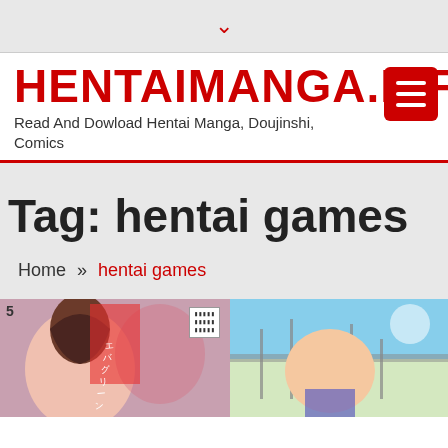▾
HENTAIMANGA.LIFE
Read And Dowload Hentai Manga, Doujinshi, Comics
Tag: hentai games
Home » hentai games
[Figure (illustration): Manga/comic book cover artwork showing anime-style characters]